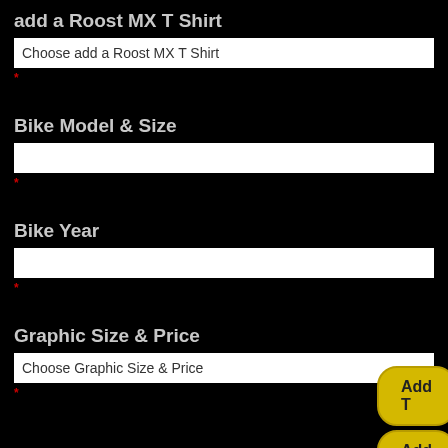add a Roost MX T Shirt
Choose add a Roost MX T Shirt
*
Bike Model & Size
*
Bike Year
*
Graphic Size & Price
Choose Graphic Size & Price
*
Add T
Add T